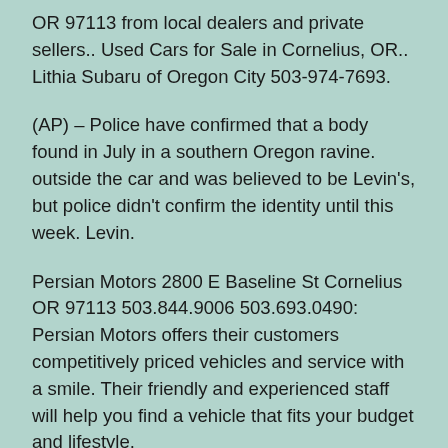OR 97113 from local dealers and private sellers.. Used Cars for Sale in Cornelius, OR.. Lithia Subaru of Oregon City 503-974-7693.
(AP) – Police have confirmed that a body found in July in a southern Oregon ravine. outside the car and was believed to be Levin's, but police didn't confirm the identity until this week. Levin.
Persian Motors 2800 E Baseline St Cornelius OR 97113 503.844.9006 503.693.0490: Persian Motors offers their customers competitively priced vehicles and service with a smile. Their friendly and experienced staff will help you find a vehicle that fits your budget and lifestyle.
So get used to Calipari's Cats at No. 1. 1. Kentucky Wildcats (2-0. as Perry dished out 12 assists against